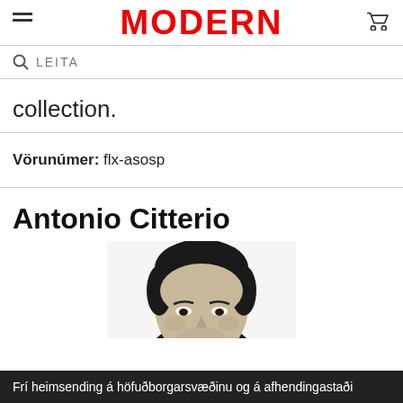MODERN
LEITA
collection.
Vörunúmer: flx-asosp
Antonio Citterio
[Figure (photo): Black and white portrait photo of Antonio Citterio, showing head and shoulders]
Frí heimsending á höfuðborgarsvæðinu og á afhendingastaði